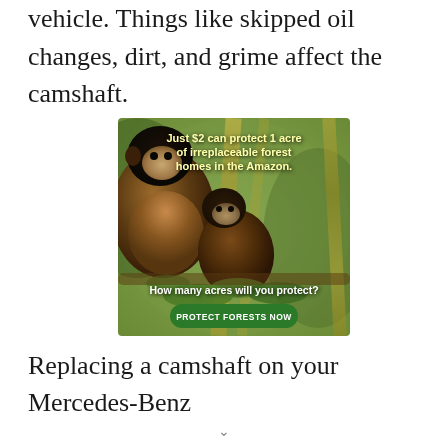vehicle. Things like skipped oil changes, dirt, and grime affect the camshaft.
[Figure (photo): Advertisement showing two capuchin monkeys (adult and juvenile) in an Amazon forest setting with bamboo and green leaves. Text overlay reads: 'Just $2 can protect 1 acre of irreplaceable forest homes in the Amazon. How many acres will you protect?' with a green 'PROTECT FORESTS NOW' button.]
Replacing a camshaft on your Mercedes-Benz